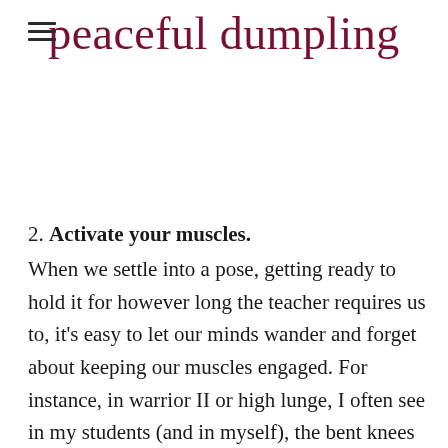peaceful dumpling
2. Activate your muscles.
When we settle into a pose, getting ready to hold it for however long the teacher requires us to, it’s easy to let our minds wander and forget about keeping our muscles engaged. For instance, in warrior II or high lunge, I often see in my students (and in myself), the bent knees slowly coming out of that 90 degree angle towards being a little straighter. It is definitely an easier place to hold these poses